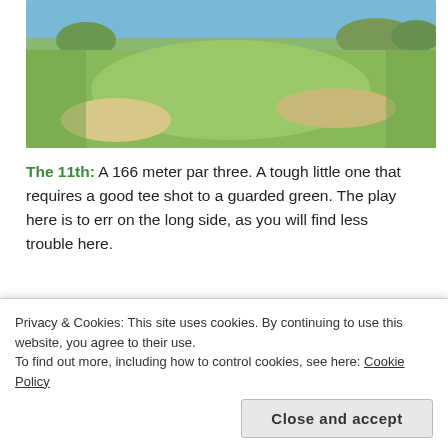[Figure (photo): Aerial view of a golf course showing a green with sand bunkers, grass fairway, and trees in the background]
The 11th: A 166 meter par three. A tough little one that requires a good tee shot to a guarded green. The play here is to err on the long side, as you will find less trouble here.
[Figure (photo): Wide panoramic view of a golf course hole with blue sky, wispy clouds, green rolling hills, a yellow flag, and sand bunkers]
Privacy & Cookies: This site uses cookies. By continuing to use this website, you agree to their use.
To find out more, including how to control cookies, see here: Cookie Policy
Close and accept